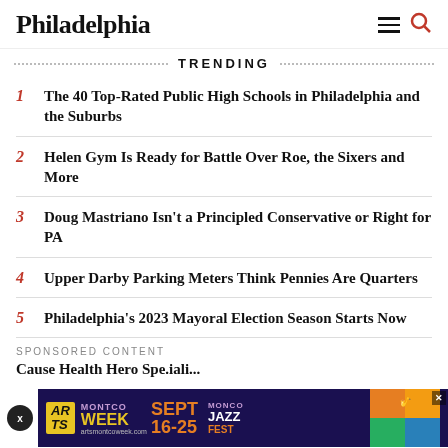Philadelphia
TRENDING
1 The 40 Top-Rated Public High Schools in Philadelphia and the Suburbs
2 Helen Gym Is Ready for Battle Over Roe, the Sixers and More
3 Doug Mastriano Isn't a Principled Conservative or Right for PA
4 Upper Darby Parking Meters Think Pennies Are Quarters
5 Philadelphia's 2023 Mayoral Election Season Starts Now
SPONSORED CONTENT
[Figure (infographic): Montco Arts Week Sept 16-25, Montco Jazz Fest advertisement banner]